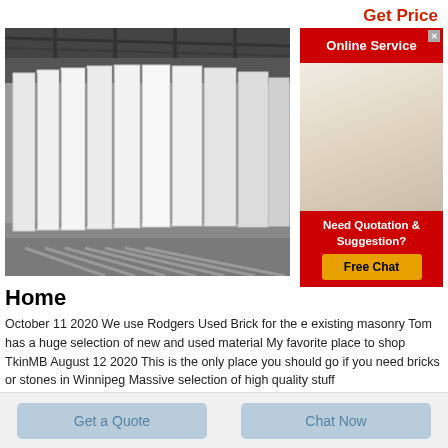Get Price
[Figure (photo): Industrial warehouse with tall white rectangular panels/blocks standing vertically in rows on a concrete floor under a metal roof structure]
[Figure (infographic): Online Service chat widget with red header, photo of smiling woman with headset, red footer reading 'Need Quotation & Suggestion?' with yellow Free Chat button]
Home
October 11 2020 We use Rodgers Used Brick for the existing masonry Tom has a huge selection of new and used material My favorite place to shop TkinMB August 12 2020 This is the only place you should go if you need bricks or stones in Winnipeg Massive selection of high quality stuff
Get a Quote
Chat Now